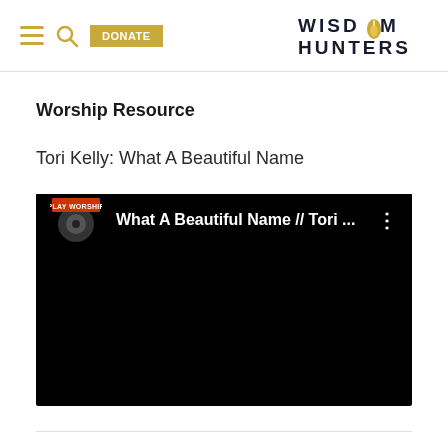WISDOM HUNTERS — nav with hamburger, search, DONATE button
Worship Resource
Tori Kelly: What A Beautiful Name
[Figure (screenshot): YouTube video thumbnail screenshot showing a dark/black video player with 'PLAY WORSHIP' badge and title 'What A Beautiful Name // Tori ...' with three-dot menu icon]